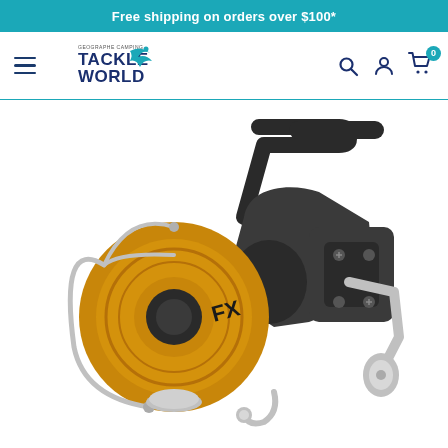Free shipping on orders over $100*
[Figure (logo): Tackle World (Geographic Camping) logo with fish graphic]
[Figure (photo): Shimano FX spinning fishing reel with gold spool and black body, silver bail wire and handle]